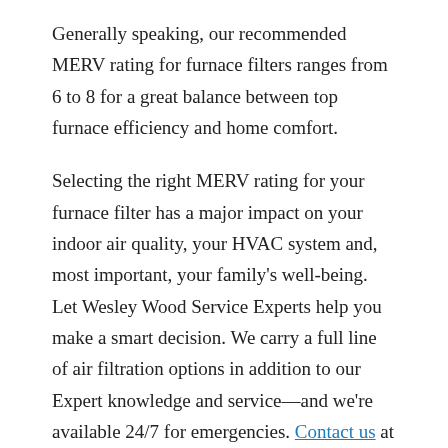Generally speaking, our recommended MERV rating for furnace filters ranges from 6 to 8 for a great balance between top furnace efficiency and home comfort.
Selecting the right MERV rating for your furnace filter has a major impact on your indoor air quality, your HVAC system and, most important, your family's well-being. Let Wesley Wood Service Experts help you make a smart decision. We carry a full line of air filtration options in addition to our Expert knowledge and service—and we're available 24/7 for emergencies. Contact us at 866-397-3787 to request your indoor air quality consultation in West Chester today!